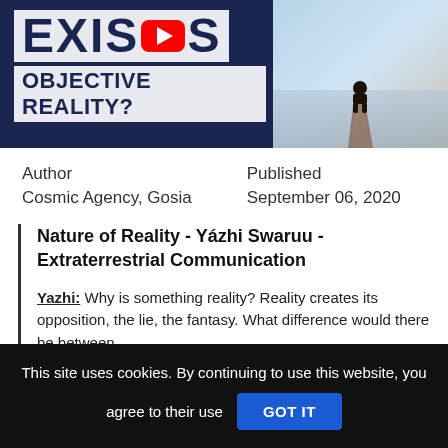[Figure (screenshot): YouTube thumbnail showing text 'EXISTS OBJECTIVE REALITY?' with YouTube play button icon overlaid on the word EXISTS, dark navy blue background on left, and a silhouette of a person sitting on a dock/pier extending into water on the right side.]
Author
Cosmic Agency, Gosia
Published
September 06, 2020
Nature of Reality - Yázhi Swaruu - Extraterrestrial Communication
Yazhi: Why is something reality? Reality creates its opposition, the lie, the fantasy. What difference would there be between
This site uses cookies. By continuing to use this website, you agree to their use GOT IT